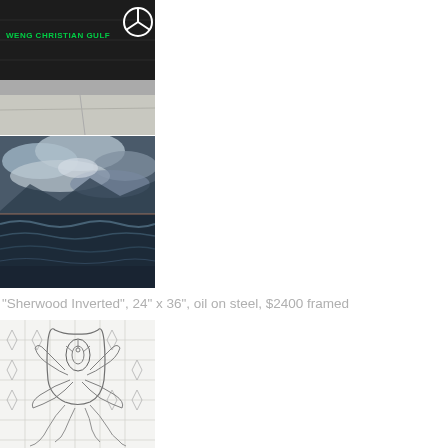[Figure (photo): Street scene with dark wall graffiti text 'WENG CHRISTIAN GULF' in green, Mercedes-Benz logo in white, gray pavement below]
[Figure (photo): Seascape or cloudscape painting – dramatic stormy sky with clouds over dark turbulent ocean water, mountains in background]
"Sherwood Inverted", 24" x 36", oil on steel, $2400 framed
[Figure (illustration): Pencil sketch/line drawing of an abstract plant or floral form rising from grid-like background, with flowing organic lines and tendrils]